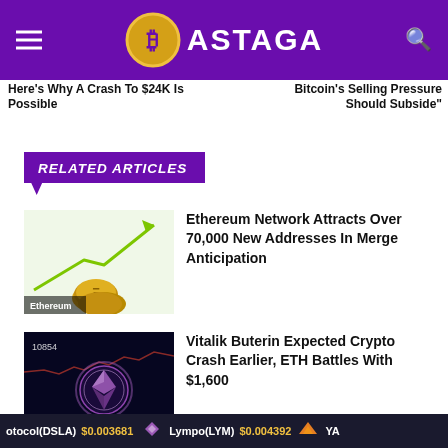BASTAGA
Here's Why A Crash To $24K Is Possible
Bitcoin's Selling Pressure Should Subside"
RELATED ARTICLES
[Figure (photo): Ethereum coin with green upward arrow chart, labeled 'Ethereum']
Ethereum Network Attracts Over 70,000 New Addresses In Merge Anticipation
[Figure (photo): Ethereum glowing purple coin on dark background with financial data, labeled 'Ethereum']
Vitalik Buterin Expected Crypto Crash Earlier, ETH Battles With $1,600
otocol(DSLA) $0.003681   Lympo(LYM) $0.004392   YA